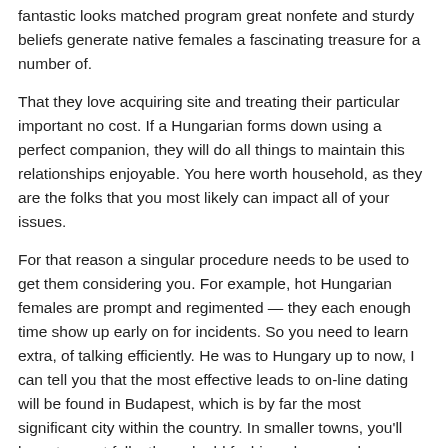fantastic looks matched program great nonfete and sturdy beliefs generate native females a fascinating treasure for a number of.
That they love acquiring site and treating their particular important no cost. If a Hungarian forms down using a perfect companion, they will do all things to maintain this relationships enjoyable. You here worth household, as they are the folks that you most likely can impact all of your issues.
For that reason a singular procedure needs to be used to get them considering you. For example, hot Hungarian females are prompt and regimented — they each enough time show up early on for incidents. So you need to learn extra, of talking efficiently. He was to Hungary up to now, I can tell you that the most effective leads to on-line dating will be found in Budapest, which is by far the most significant city within the country. In smaller towns, you'll have to meet folks through old fashioned approaches corresponding to mutual friends, actions, and bars. Hungarian girls are erudite, consequently they're enthusiastic about foreign ethnicities.
Hungarian women usually do not count on guys to resolve their particular problems, they'd somewhat experience companions to